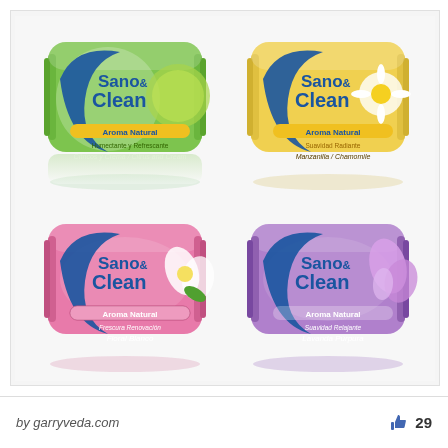[Figure (illustration): Four Sano & Clean soap bar packages arranged in a 2x2 grid. Top-left: green package with lime/citrus design, 'Aroma Natural', 'Cítricos y Crema / Citrus and Cream'. Top-right: yellow package with daisy/chamomile design, 'Aroma Natural', 'Manzanilla / Chamomile'. Bottom-left: pink package with white flower, 'Aroma Natural', 'Frescura Renovación', 'Floral Blanco'. Bottom-right: purple/lavender package with orchid, 'Aroma Natural', 'Suavidad Relajante', 'Lavanda Púrpura'.]
by garryveda.com
29